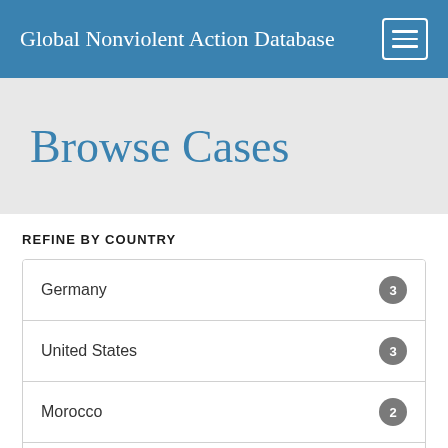Global Nonviolent Action Database
Browse Cases
REFINE BY COUNTRY
Germany 3
United States 3
Morocco 2
Russia 2